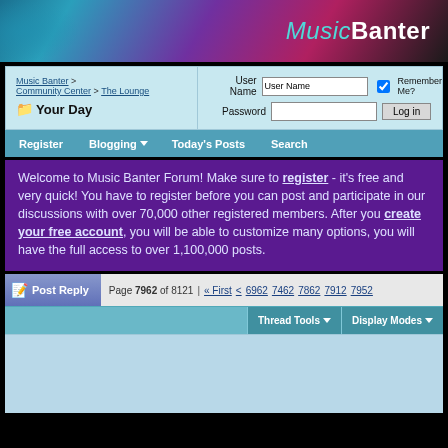[Figure (screenshot): Music Banter website header banner with logo, teal/purple/red gradient background with CD imagery]
Music Banter
Music Banter > Community Center > The Lounge 📁 Your Day
User Name | Password | Remember Me? | Log in
Register   Blogging ▼   Today's Posts   Search
Welcome to Music Banter Forum! Make sure to register - it's free and very quick! You have to register before you can post and participate in our discussions with over 70,000 other registered members. After you create your free account, you will be able to customize many options, you will have the full access to over 1,100,000 posts.
Post Reply   Page 7962 of 8121   « First   <   6962   7462   7862   7912   7952
Thread Tools ▼   Display Modes ▼